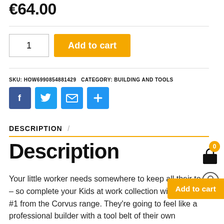€64.00
1  Add to cart
SKU: HOW6990854881429  CATEGORY: BUILDING AND TOOLS
[Figure (infographic): Social share icons: Facebook (f), Twitter (bird), Email (envelope), Plus (+)]
DESCRIPTION /
Description
Your little worker needs somewhere to keep all their to – so complete your Kids at work collection wi Belt Kit #1 from the Corvus range. They're going to feel like a professional builder with a tool belt of their own